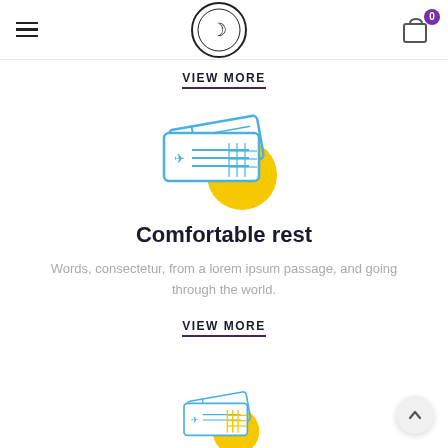Navigation header with hamburger menu, logo, and cart icon (0 items)
VIEW MORE
[Figure (illustration): Blue outline airplane ticket/boarding pass icon with a yellow circle accent, representing travel tickets]
Comfortable rest
Words, consectetur, from a lorem ipsum passage, and going through the world.
VIEW MORE
[Figure (illustration): Partial blue and yellow airplane ticket/boarding pass icon at bottom, partially cropped]